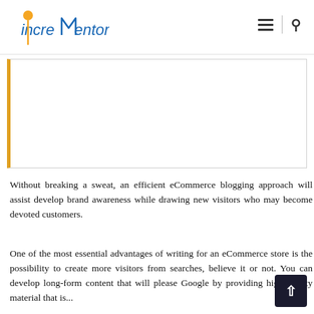increMentors logo with hamburger menu and search icon
[Figure (photo): A large rectangular image placeholder with a golden-yellow left border on a white background, serving as a featured image area for a blog post.]
Without breaking a sweat, an efficient eCommerce blogging approach will assist develop brand awareness while drawing new visitors who may become devoted customers.
One of the most essential advantages of writing for an eCommerce store is the possibility to create more visitors from searches, believe it or not. You can develop long-form content that will please Google by providing high-quality material that is...